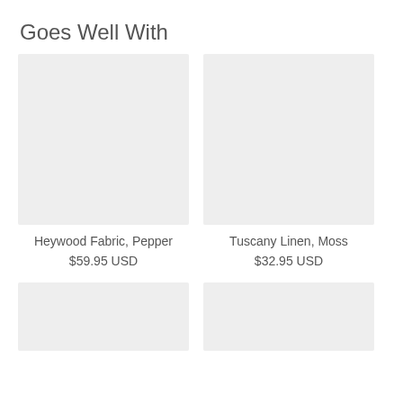Goes Well With
[Figure (photo): Gray placeholder image for Heywood Fabric, Pepper product]
Heywood Fabric, Pepper
$59.95 USD
[Figure (photo): Gray placeholder image for Tuscany Linen, Moss product]
Tuscany Linen, Moss
$32.95 USD
[Figure (photo): Gray placeholder image for third product (partially visible)]
[Figure (photo): Gray placeholder image for fourth product (partially visible)]